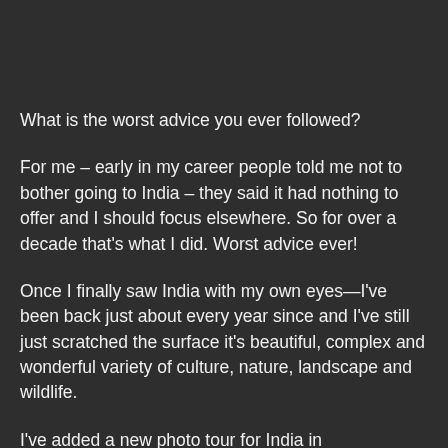What is the worst advice you ever followed?
For me – early in my career people told me not to bother going to India – they said it had nothing to offer and I should focus elsewhere. So for over a decade that's what I did. Worst advice ever!
Once I finally saw India with my own eyes—I've been back just about every year since and I've still just scratched the surface it's beautiful, complex and wonderful variety of culture, nature, landscape and wildlife.
I've added a new photo tour for India in January/February 2016 that can either be just one week or over two depending the time you have. I'll be taking you along an extraordinary